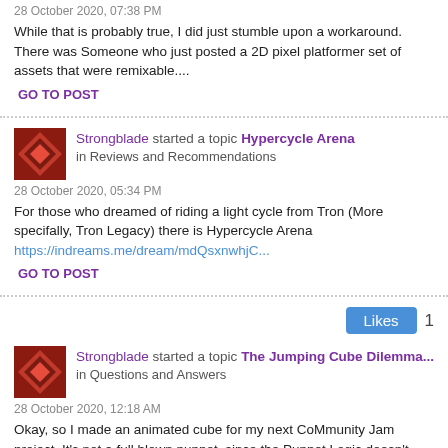28 October 2020, 07:38 PM
While that is probably true, I did just stumble upon a workaround. There was Someone who just posted a 2D pixel platformer set of assets that were remixable....
GO TO POST
Strongblade started a topic Hypercycle Arena in Reviews and Recommendations
28 October 2020, 05:34 PM
For those who dreamed of riding a light cycle from Tron (More specifally, Tron Legacy) there is Hypercycle Arena https://indreams.me/dream/mdQsxnwhjC...
GO TO POST
Likes 1
Strongblade started a topic The Jumping Cube Dilemma... in Questions and Answers
28 October 2020, 12:18 AM
Okay, so I made an animated cube for my next CoMmunity Jam project. It's not a full blown puppet, since the Puppet Logic doesn't seem to do anything,...
GO TO POST